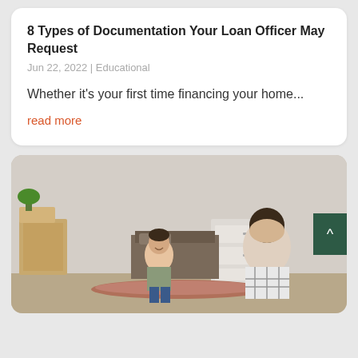8 Types of Documentation Your Loan Officer May Request
Jun 22, 2022 | Educational
Whether it's your first time financing your home...
read more
[Figure (photo): A couple moving into a new home, rolling out a carpet on the floor, with moving boxes and a dresser visible in the background. The woman is smiling and wearing a gray t-shirt and jeans with gloves.]